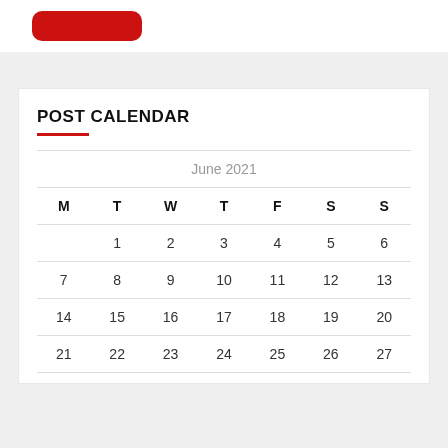[Figure (other): Red rounded rectangle button at the top of the page]
POST CALENDAR
| M | T | W | T | F | S | S |
| --- | --- | --- | --- | --- | --- | --- |
|  | 1 | 2 | 3 | 4 | 5 | 6 |
| 7 | 8 | 9 | 10 | 11 | 12 | 13 |
| 14 | 15 | 16 | 17 | 18 | 19 | 20 |
| 21 | 22 | 23 | 24 | 25 | 26 | 27 |